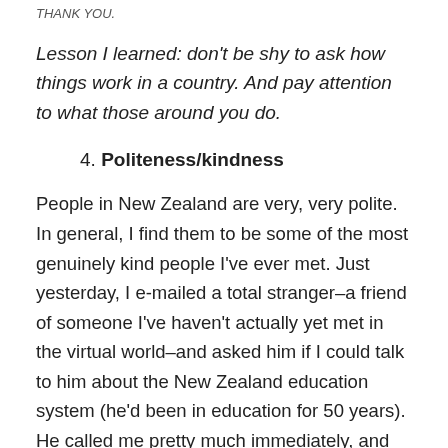THANK YOU.
Lesson I learned:  don't be shy to ask how things work in a country.  And pay attention to what those around you do.
4. Politeness/kindness
People in New Zealand are very, very polite. In general, I find them to be some of the most genuinely kind people I've ever met.  Just yesterday, I e-mailed a total stranger–a friend of someone I've haven't actually yet met in the virtual world–and asked him if I could talk to him about the New Zealand education system (he'd been in education for 50 years).  He called me pretty much immediately, and said that he and his wife would come pick me up and bring me over to their house for dinner.  And he has never met me. I just don't know of